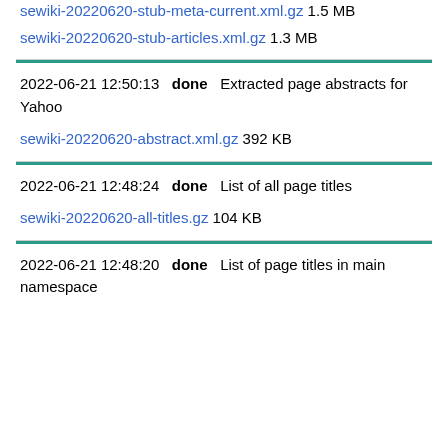sewiki-20220620-stub-meta-current.xml.gz 1.5 MB
sewiki-20220620-stub-articles.xml.gz 1.3 MB
2022-06-21 12:50:13  done  Extracted page abstracts for Yahoo
sewiki-20220620-abstract.xml.gz 392 KB
2022-06-21 12:48:24  done  List of all page titles
sewiki-20220620-all-titles.gz 104 KB
2022-06-21 12:48:20  done  List of page titles in main namespace